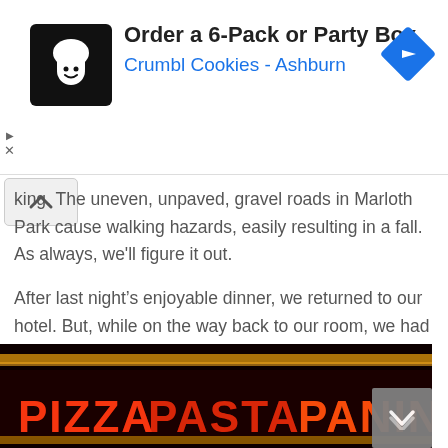[Figure (infographic): Advertisement banner for Crumbl Cookies - Ashburn with logo, text 'Order a 6-Pack or Party Box', subtitle 'Crumbl Cookies - Ashburn', and a blue diamond navigation arrow icon]
king. The uneven, unpaved, gravel roads in Marloth Park cause walking hazards, easily resulting in a fall. As always, we'll figure it out.
After last night's enjoyable dinner, we returned to our hotel. But, while on the way back to our room, we had to walk through the casino. As we did so, we stopped at a slot machine with a beautiful display of African animals. I said to Tom, “Let’s try this. Maybe we’ll have “safari luck.”
[Figure (photo): Photo of a neon sign showing PIZZA PASTA PANINI text in red and orange neon lights against a dark background]